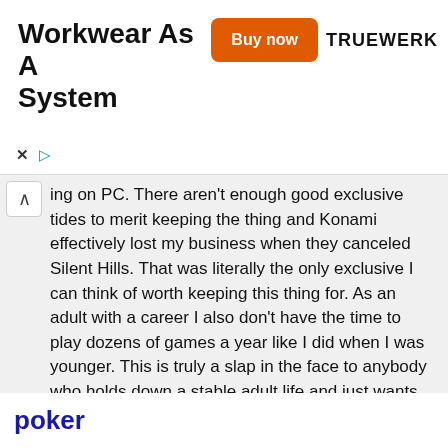[Figure (other): Advertisement banner for Truewerk 'Workwear As A System' with orange 'Buy now' button and Truewerk logo]
ing on PC. There aren't enough good exclusive tides to merit keeping the thing and Konami effectively lost my business when they canceled Silent Hills. That was literally the only exclusive I can think of worth keeping this thing for. As an adult with a career I also don't have the time to play dozens of games a year like I did when I was younger. This is truly a slap in the face to anybody who holds down a stable adult life and just wants to play a game to unwind every once in a while.
Log in to post comments
poker
Submitted by Anonymous on Thu, 02/06/2014 - 16:44